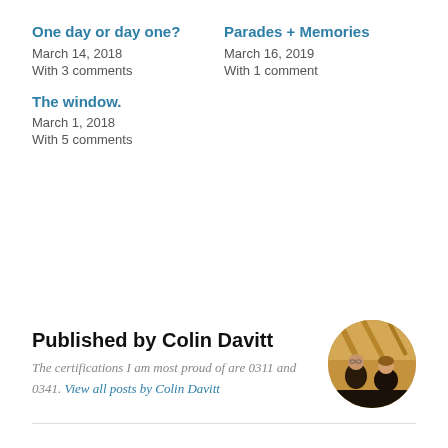One day or day one?
March 14, 2018
With 3 comments
Parades + Memories
March 16, 2019
With 1 comment
The window.
March 1, 2018
With 5 comments
Published by Colin Davitt
The certifications I am most proud of are 0311 and 0341. View all posts by Colin Davitt
[Figure (photo): Circular avatar photo of Colin Davitt showing two people in a warm-lit indoor setting]